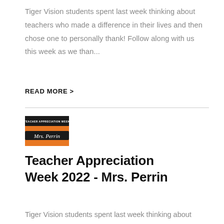Tiger Vision students spent last week thinking about teachers who made a difference in their lives and then chose one to personally thank! Follow along with us this week as we than...
READ MORE >
[Figure (photo): Teacher Appreciation Week thumbnail image with orange background and text 'Mrs. Perrin' in script font]
Teacher Appreciation Week 2022 - Mrs. Perrin
Tiger Vision students spent last week thinking about teachers who made a